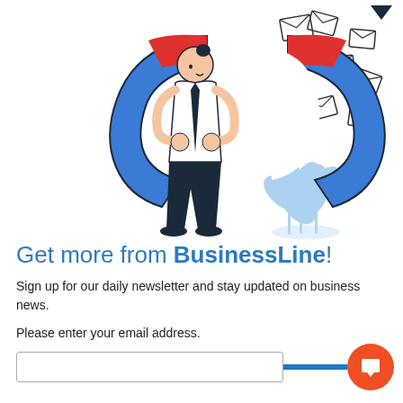[Figure (illustration): A cartoon man holding a large blue horseshoe magnet attracting envelope icons (emails), with blue decorative leaves/plant in the background]
Get more from BusinessLine!
Sign up for our daily newsletter and stay updated on business news.
Please enter your email address.